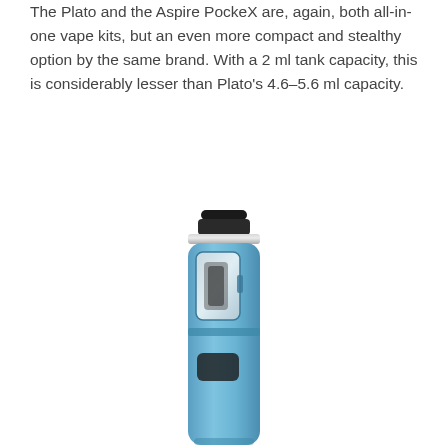The Plato and the Aspire PockeX are, again, both all-in-one vape kits, but an even more compact and stealthy option by the same brand. With a 2 ml tank capacity, this is considerably lesser than Plato's 4.6–5.6 ml capacity.
[Figure (photo): A blue cylindrical all-in-one vape pen (Aspire PockeX style) with a black mouthpiece at the top, a silver ring collar, a transparent window showing the coil/tank area, and a rectangular button cutout lower on the body.]